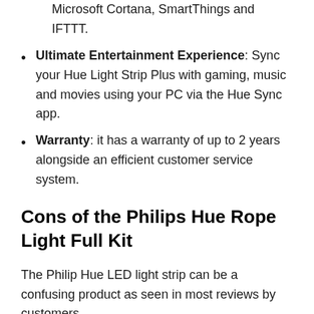Microsoft Cortana, SmartThings and IFTTT.
Ultimate Entertainment Experience: Sync your Hue Light Strip Plus with gaming, music and movies using your PC via the Hue Sync app.
Warranty: it has a warranty of up to 2 years alongside an efficient customer service system.
Cons of the Philips Hue Rope Light Full Kit
The Philip Hue LED light strip can be a confusing product as seen in most reviews by customers.